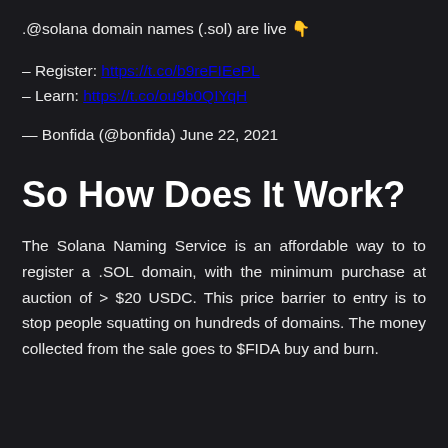.@solana domain names (.sol) are live 👇
– Register: https://t.co/b9reFIEePL
– Learn: https://t.co/ou9b0QIYqH
— Bonfida (@bonfida) June 22, 2021
So How Does It Work?
The Solana Naming Service is an affordable way to to register a .SOL domain, with the minimum purchase at auction of > $20 USDC. This price barrier to entry is to stop people squatting on hundreds of domains. The money collected from the sale goes to $FIDA buy and burn.